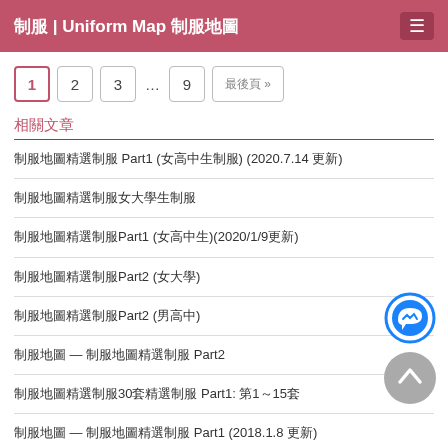制服 | Uniform Map 制服地圖 ☰
1  2  3  …  9  最後頁 »
相關文章
制服地圖精選制服 Part1 (女高中生制服) (2020.7.14 更新)
制服地圖精選制服女大學生制服
制服地圖精選制服Part1 (女高中生)(2020/1/9更新)
制服地圖精選制服Part2 (女大學)
制服地圖精選制服Part2 (男高中)
制服地圖 — 制服地圖精選制服 Part2
制服地圖精選制服30套精選制服 Part1: 第1～15套
制服地圖 — 制服地圖精選制服 Part1 (2018.1.8 更新)